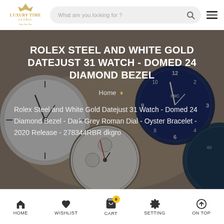Luxury Time Global - What are you looking for?
ROLEX STEEL AND WHITE GOLD DATEJUST 31 WATCH - DOMED 24 DIAMOND BEZEL
Home ♦
Rolex Steel and White Gold Datejust 31 Watch - Domed 24 Diamond Bezel - Dark Grey Roman Dial - Oyster Bracelet - 2020 Release - 278344RBR dkgro
[Figure (screenshot): Product thumbnail showing a dark circular watch face and a metallic bracelet on white background]
HOME   WISHLIST   CART   SETTING   ON TOP